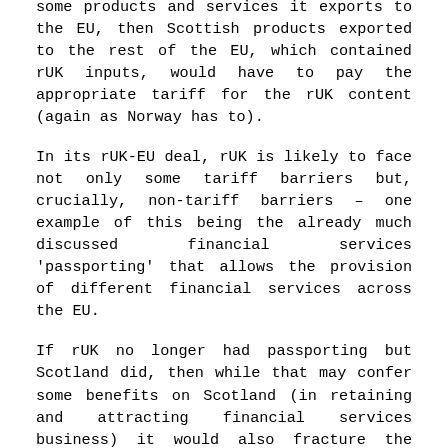some products and services it exports to the EU, then Scottish products exported to the rest of the EU, which contained rUK inputs, would have to pay the appropriate tariff for the rUK content (again as Norway has to).
In its rUK-EU deal, rUK is likely to face not only some tariff barriers but, crucially, non-tariff barriers – one example of this being the already much discussed financial services 'passporting' that allows the provision of different financial services across the EU.
If rUK no longer had passporting but Scotland did, then while that may confer some benefits on Scotland (in retaining and attracting financial services business) it would also fracture the current financial services market across the UK as a whole, with more negative implications. The